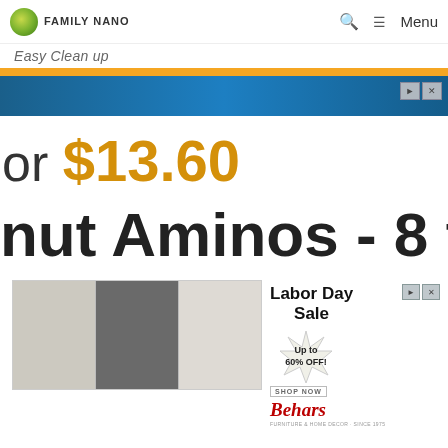Family Nano — Menu
Easy Clean up
[Figure (screenshot): Blue advertisement banner with close buttons]
or $13.60
nut Aminos - 8 fl o
[Figure (screenshot): Labor Day Sale furniture advertisement banner with Up to 60% OFF and Behars logo]